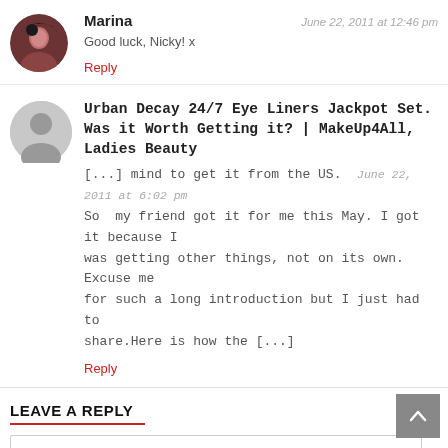Marina
June 22, 2011 at 12:46 pm
Good luck, Nicky! x
Reply
Urban Decay 24/7 Eye Liners Jackpot Set. Was it Worth Getting it? | MakeUp4All, Ladies Beauty
June 22, 2011 at 6:02 pm
[...] mind to get it from the US.  So  my friend got it for me this May. I got it because I was getting other things, not on its own. Excuse me for such a long introduction but I just had to share.Here is how the [...]
Reply
LEAVE A REPLY